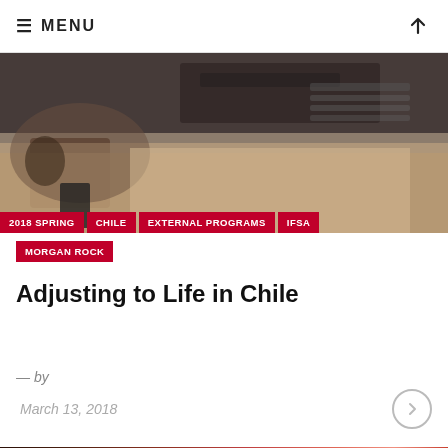≡ MENU
[Figure (photo): A bedroom with a floral bedspread/coverlet on a bed, a nightstand with a glass, and items including a laptop on the bed, photographed from the side.]
2018 SPRING   CHILE   EXTERNAL PROGRAMS   IFSA
MORGAN ROCK
Adjusting to Life in Chile
— by
March 13, 2018
[Figure (photo): Partial bottom image showing colorful food or items on a dark background.]